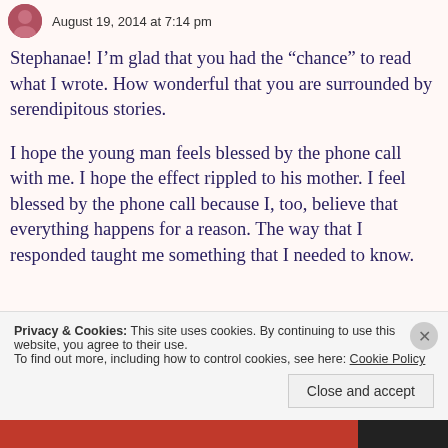August 19, 2014 at 7:14 pm
Stephanae! I'm glad that you had the “chance” to read what I wrote. How wonderful that you are surrounded by serendipitous stories.
I hope the young man feels blessed by the phone call with me. I hope the effect rippled to his mother. I feel blessed by the phone call because I, too, believe that everything happens for a reason. The way that I responded taught me something that I needed to know.
Privacy & Cookies: This site uses cookies. By continuing to use this website, you agree to their use. To find out more, including how to control cookies, see here: Cookie Policy
Close and accept